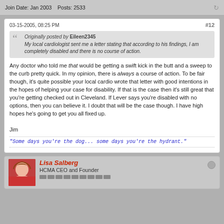Join Date: Jan 2003   Posts: 2533
03-15-2005, 08:25 PM
#12
Originally posted by Eileen2345
My local cardiologist sent me a letter stating that according to his findings, I am completely disabled and there is no course of action.
Any doctor who told me that would be getting a swift kick in the butt and a sweep to the curb pretty quick. In my opinion, there is always a course of action. To be fair though, it's quite possible your local cardio wrote that letter with good intentions in the hopes of helping your case for disability. If that is the case then it's still great that you're getting checked out in Cleveland. If Lever says you're disabled with no options, then you can believe it. I doubt that will be the case though. I have high hopes he's going to get you all fixed up.

Jim
"Some days you're the dog... some days you're the hydrant."
Lisa Salberg
HCMA CEO and Founder